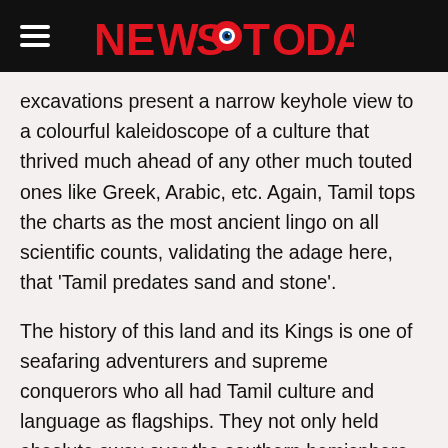NEWS TODAY
excavations present a narrow keyhole view to a colourful kaleidoscope of a culture that thrived much ahead of any other much touted ones like Greek, Arabic, etc. Again, Tamil tops the charts as the most ancient lingo on all scientific counts, validating the adage here, that ‘Tamil predates sand and stone’.
The history of this land and its Kings is one of seafaring adventurers and supreme conquerors who all had Tamil culture and language as flagships. They not only held absolute sway over the southern hemisphere, but went far north and west too. Epigraphical and anthropological evidences abound to show that it was actually a Dravidian invasion or at the least, influence, that prevailed there, as for example, the Indus Valley. So how